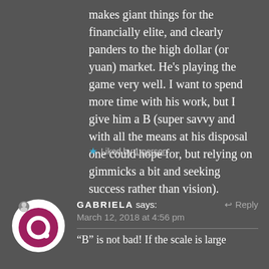makes giant things for the financially elite, and clearly panders to the high dollar (or yuan) market. He’s playing the game very well. I want to spend more time with his work, but I give him a B (super savvy and with all the means at his disposal one could hope for, but relying on gimmicks a bit and seeking success rather than vision).
★ Liked by 1 person
GABRIELA says: March 12, 2018 at 4:56 pm
“B” is not bad! If the scale is large